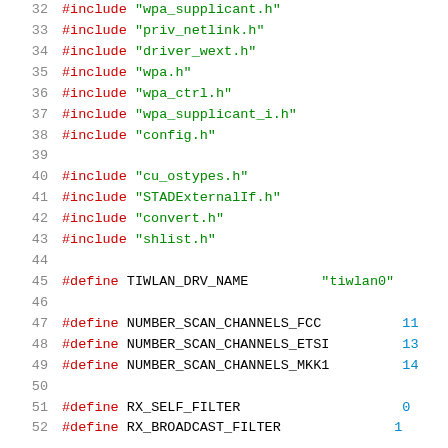32  #include "wpa_supplicant.h"
33  #include "priv_netlink.h"
34  #include "driver_wext.h"
35  #include "wpa.h"
36  #include "wpa_ctrl.h"
37  #include "wpa_supplicant_i.h"
38  #include "config.h"
39
40  #include "cu_ostypes.h"
41  #include "STADExternalIf.h"
42  #include "convert.h"
43  #include "shlist.h"
44
45  #define TIWLAN_DRV_NAME        "tiwlan0"
46
47  #define NUMBER_SCAN_CHANNELS_FCC    11
48  #define NUMBER_SCAN_CHANNELS_ETSI   13
49  #define NUMBER_SCAN_CHANNELS_MKK1   14
50
51  #define RX_SELF_FILTER              0
52  #define RX_BROADCAST_FILTER         1